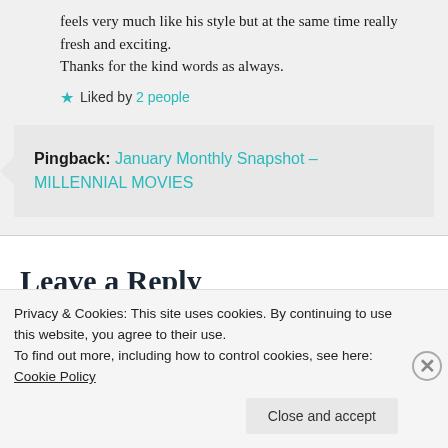feels very much like his style but at the same time really fresh and exciting.
Thanks for the kind words as always.
Liked by 2 people
Pingback: January Monthly Snapshot – MILLENNIAL MOVIES
Leave a Reply
Your email address will not be published. Required fields are marked
Privacy & Cookies: This site uses cookies. By continuing to use this website, you agree to their use.
To find out more, including how to control cookies, see here: Cookie Policy
Close and accept